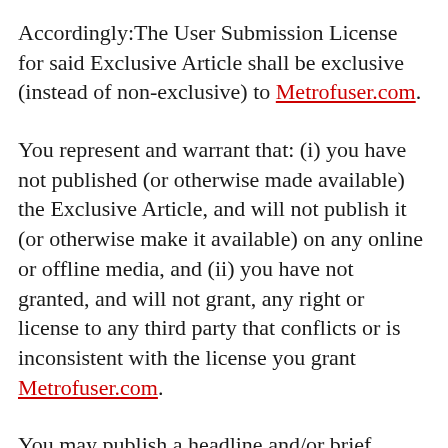Accordingly:The User Submission License for said Exclusive Article shall be exclusive (instead of non-exclusive) to Metrofuser.com.
You represent and warrant that: (i) you have not published (or otherwise made available) the Exclusive Article, and will not publish it (or otherwise make it available) on any online or offline media, and (ii) you have not granted, and will not grant, any right or license to any third party that conflicts or is inconsistent with the license you grant Metrofuser.com.
You may publish a headline and/or brief summary snippet of the Exclusive Article (up to 150 words but